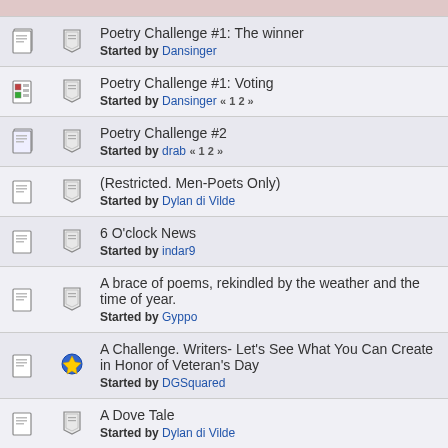Poetry Challenge #1: The winner
Started by Dansinger
Poetry Challenge #1: Voting
Started by Dansinger « 1 2 »
Poetry Challenge #2
Started by drab « 1 2 »
(Restricted. Men-Poets Only)
Started by Dylan di Vilde
6 O'clock News
Started by indar9
A brace of poems, rekindled by the weather and the time of year.
Started by Gyppo
A Challenge. Writers- Let's See What You Can Create in Honor of Veteran's Day
Started by DGSquared
A Dove Tale
Started by Dylan di Vilde
A Fish at Night (Edited)